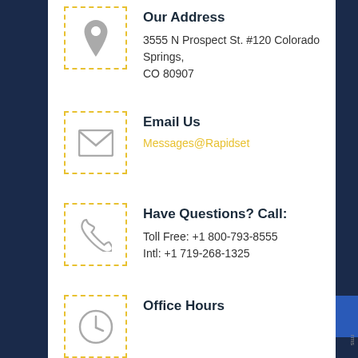Our Address
3555 N Prospect St. #120 Colorado Springs, CO 80907
Email Us
Messages@Rapidset
Have Questions? Call:
Toll Free: +1 800-793-8555
Intl: +1 719-268-1325
Office Hours